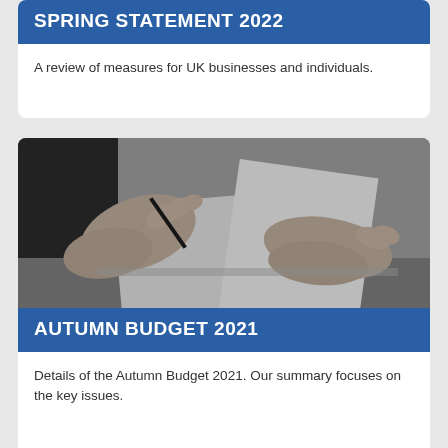SPRING STATEMENT 2022
A review of measures for UK businesses and individuals.
[Figure (photo): Black and white photograph of a person's hands signing or writing on a document with a pen]
AUTUMN BUDGET 2021
Details of the Autumn Budget 2021. Our summary focuses on the key issues.